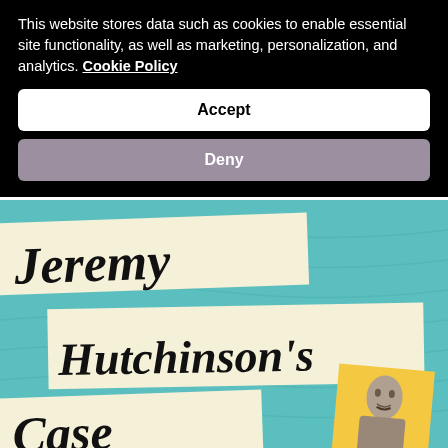This website stores data such as cookies to enable essential site functionality, as well as marketing, personalization, and analytics. Cookie Policy
Accept
Deny
[Figure (illustration): Book cover for 'Jeremy Hutchinson's Case' with teal background, paper strip labels with handwritten-style title text, a yellow card with a black-and-white portrait of a man.]